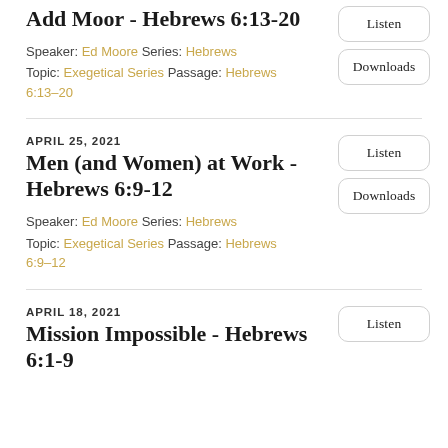Add Moor - Hebrews 6:13-20
Speaker: Ed Moore Series: Hebrews
Topic: Exegetical Series Passage: Hebrews 6:13–20
APRIL 25, 2021
Men (and Women) at Work - Hebrews 6:9-12
Speaker: Ed Moore Series: Hebrews
Topic: Exegetical Series Passage: Hebrews 6:9–12
APRIL 18, 2021
Mission Impossible - Hebrews 6:1-9